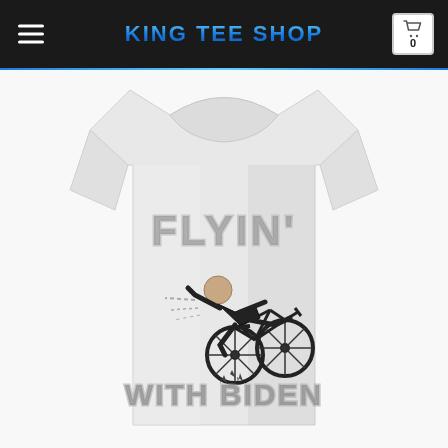KING TEE SHOP
[Figure (photo): White t-shirt with graphic design reading FLYIN' WITH BIDEN showing a person falling off a bicycle, displayed on an e-commerce product page for King Tee Shop]